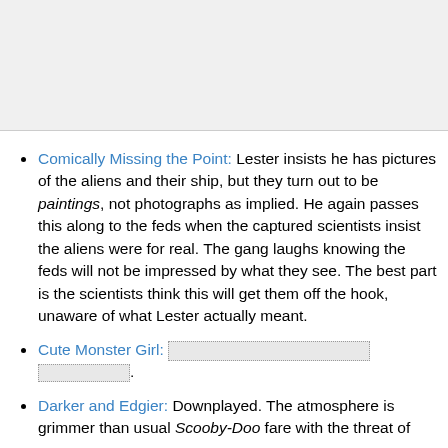[Figure (other): Gray shaded area at the top of the page, likely an image or content cropped from view]
Comically Missing the Point: Lester insists he has pictures of the aliens and their ship, but they turn out to be paintings, not photographs as implied. He again passes this along to the feds when the captured scientists insist the aliens were for real. The gang laughs knowing the feds will not be impressed by what they see. The best part is the scientists think this will get them off the hook, unaware of what Lester actually meant.
Cute Monster Girl: [redacted content].
Darker and Edgier: Downplayed. The atmosphere is grimmer than usual Scooby-Doo fare with the threat of